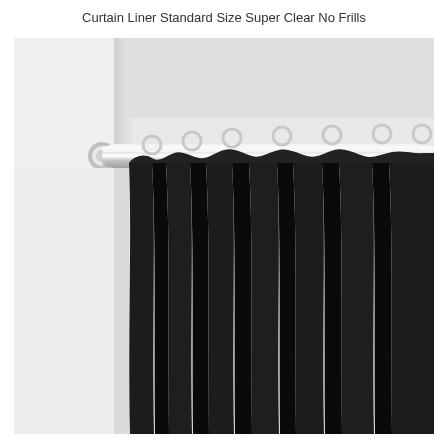Curtain Liner Standard Size Super Clear No Frills
[Figure (photo): Product photo of a black shower curtain liner hanging from a chrome shower curtain rod mounted on a white bathroom wall. The liner is solid black fabric hanging in soft folds, with chrome rings attaching it to the horizontal rod. The left side shows the white wall and corner of the shower/tub area.]